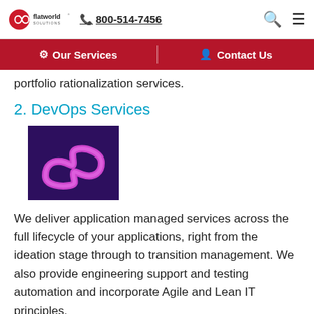flatworld solutions  800-514-7456
Our Services  |  Contact Us
portfolio rationalization services.
2. DevOps Services
[Figure (photo): Purple/pink infinity or snake-like 3D rendered shape on dark purple background, representing DevOps services]
We deliver application managed services across the full lifecycle of your applications, right from the ideation stage through to transition management. We also provide engineering support and testing automation and incorporate Agile and Lean IT principles.